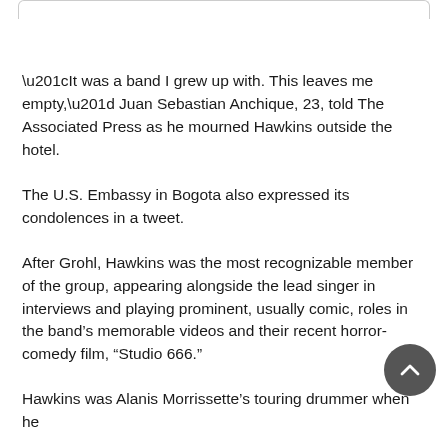“It was a band I grew up with. This leaves me empty,” Juan Sebastian Anchique, 23, told The Associated Press as he mourned Hawkins outside the hotel.
The U.S. Embassy in Bogota also expressed its condolences in a tweet.
After Grohl, Hawkins was the most recognizable member of the group, appearing alongside the lead singer in interviews and playing prominent, usually comic, roles in the band’s memorable videos and their recent horror-comedy film, “Studio 666.”
Hawkins was Alanis Morrissette’s touring drummer when he